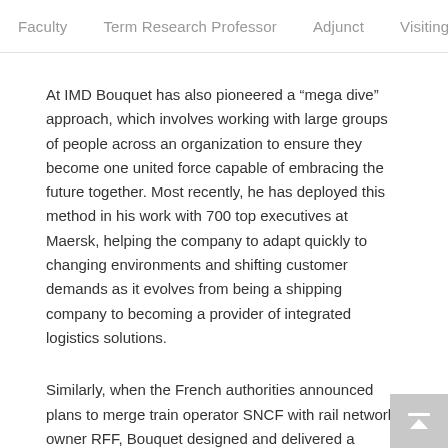Faculty   Term Research Professor   Adjunct   Visiting   >
At IMD Bouquet has also pioneered a “mega dive” approach, which involves working with large groups of people across an organization to ensure they become one united force capable of embracing the future together. Most recently, he has deployed this method in his work with 700 top executives at Maersk, helping the company to adapt quickly to changing environments and shifting customer demands as it evolves from being a shipping company to becoming a provider of integrated logistics solutions.
Similarly, when the French authorities announced plans to merge train operator SNCF with rail network owner RFF, Bouquet designed and delivered a pivotal meeting for the top 650 leaders aimed at helping transform the combined businesses into a new entity in which they could all take pride. The approach has been successfully implemented on a number of other IMD cus…